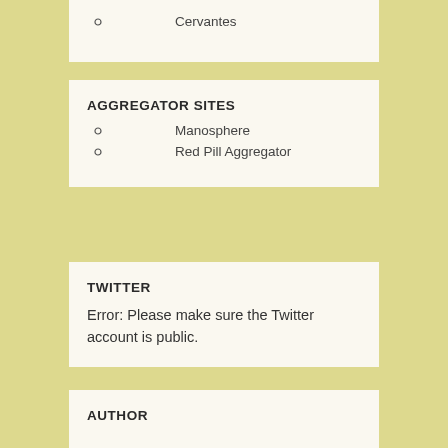Cervantes
AGGREGATOR SITES
Manosphere
Red Pill Aggregator
TWITTER
Error: Please make sure the Twitter account is public.
AUTHOR